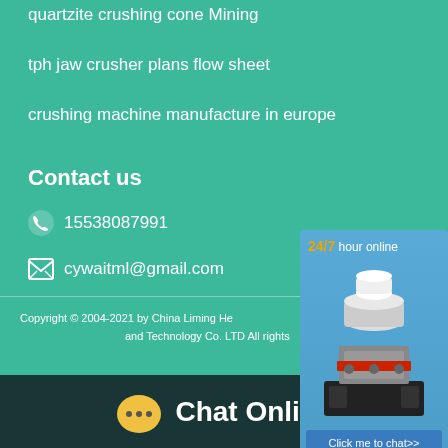quartzite crushing cone Mining
tph jaw crusher plans flow sheet
crushing machine manufacture in europe
Contact us
15538087991
cywaitml@gmail.com
[Figure (illustration): Chat widget with cone crusher machine image, 24/7 hour online text, and Click me to chat>> button on blue background]
Copyright © 2004-2021 by China Liming Heavy Industry Science and Technology Co. LTD All rights
Chat Online